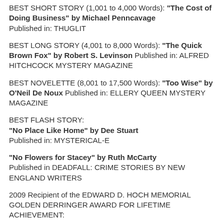BEST SHORT STORY (1,001 to 4,000 Words): "The Cost of Doing Business" by Michael Penncavage Published in: THUGLIT
BEST LONG STORY (4,001 to 8,000 Words): "The Quick Brown Fox" by Robert S. Levinson Published in: ALFRED HITCHCOCK MYSTERY MAGAZINE
BEST NOVELETTE (8,001 to 17,500 Words): "Too Wise" by O'Neil De Noux Published in: ELLERY QUEEN MYSTERY MAGAZINE
BEST FLASH STORY: "No Place Like Home" by Dee Stuart Published in: MYSTERICAL-E
"No Flowers for Stacey" by Ruth McCarty Published in DEADFALL: CRIME STORIES BY NEW ENGLAND WRITERS
2009 Recipient of the EDWARD D. HOCH MEMORIAL GOLDEN DERRINGER AWARD FOR LIFETIME ACHIEVEMENT: